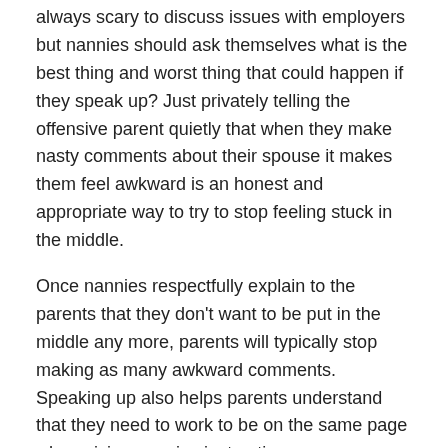always scary to discuss issues with employers but nannies should ask themselves what is the best thing and worst thing that could happen if they speak up? Just privately telling the offensive parent quietly that when they make nasty comments about their spouse it makes them feel awkward is an honest and appropriate way to try to stop feeling stuck in the middle.
Once nannies respectfully explain to the parents that they don't want to be put in the middle any more, parents will typically stop making as many awkward comments. Speaking up also helps parents understand that they need to work to be on the same page when giving nannies instructions.
Share this: